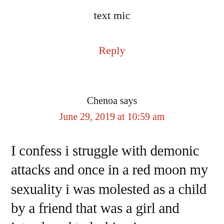text mic
Reply
Chenoa says
June 29, 2019 at 10:59 am
I confess i struggle with demonic attacks and once in a red moon my sexuality i was molested as a child by a friend that was a girl and introduced to lesbian in kindergarten or elementary school i did not want this on me